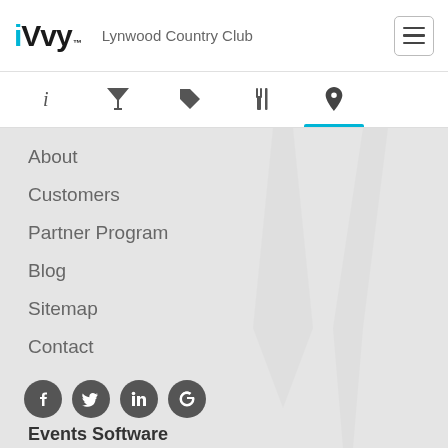iVvy — Lynwood Country Club
[Figure (screenshot): Navigation tab bar with icons: info (i), cocktail glass, tag, fork and knife, location pin (active, highlighted with blue underline)]
About
Customers
Partner Program
Blog
Sitemap
Contact
[Figure (infographic): Social media icons row: Facebook, Twitter, LinkedIn, Google (circular dark grey icons)]
Events Software
Home
Highlights